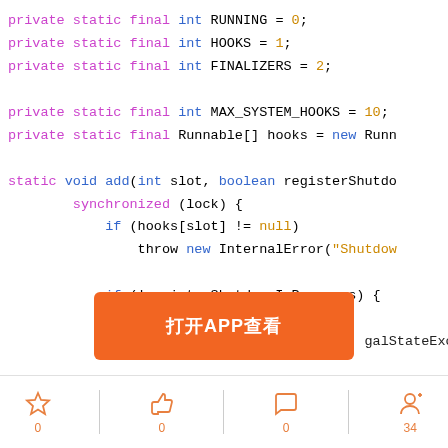[Figure (screenshot): Java source code showing private static final int constants RUNNING=0, HOOKS=1, FINALIZERS=2, MAX_SYSTEM_HOOKS=10, Runnable[] hooks, and static void add method with synchronized block containing if statements checking hooks slot, registerShutdownInProgress, state vs RUNNING, HOOKS constants, throwing InternalError and IllegalStateException.]
打开APP查看
[Figure (infographic): Bottom navigation bar with star (0), thumbs-up (0), comment bubble (0), and person/follow icon (34) icons in orange, separated by vertical lines.]